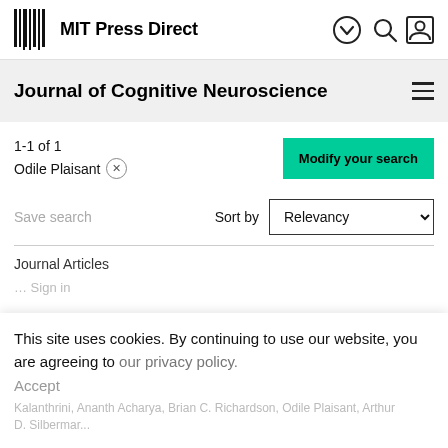MIT Press Direct
Journal of Cognitive Neuroscience
1-1 of 1
Odile Plaisant ×
Modify your search
Save search
Sort by Relevancy
Journal Articles
This site uses cookies. By continuing to use our website, you are agreeing to our privacy policy. Accept